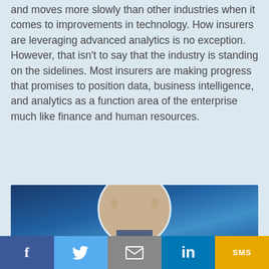and moves more slowly than other industries when it comes to improvements in technology. How insurers are leveraging advanced analytics is no exception. However, that isn't to say that the industry is standing on the sidelines. Most insurers are making progress that promises to position data, business intelligence, and analytics as a function area of the enterprise much like finance and human resources.
[Figure (photo): Portrait photo of a bald man in a circular crop, set against a blue gradient background]
f  [Twitter bird]  [envelope]  in  SMS